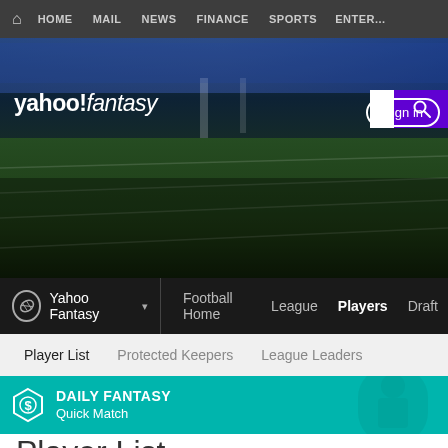HOME  MAIL  NEWS  FINANCE  SPORTS  ENTER...
[Figure (screenshot): Yahoo Fantasy Football hero banner with stadium background image showing football field and crowd]
yahoo!fantasy
Sign in
Yahoo Fantasy  Football Home  League  Players  Draft
Player List  Protected Keepers  League Leaders
DAILY FANTASY Quick Match
Player List